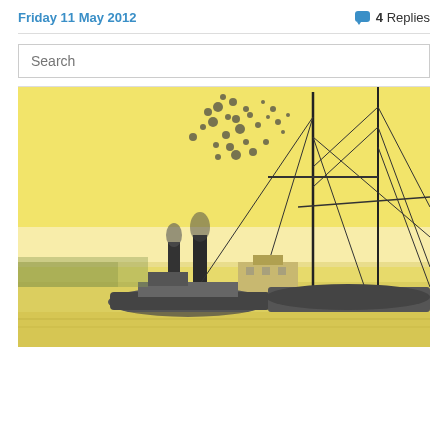Friday 11 May 2012   💬 4 Replies
Search
[Figure (illustration): Watercolor and ink illustration of historical sailing ships and steamboats docked at a harbor, with smokestacks emitting smoke against a yellow sky background.]